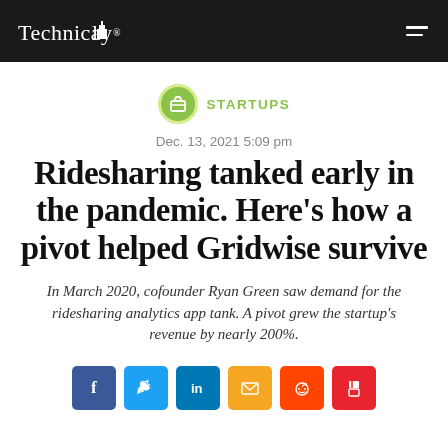Technically
STARTUPS
Dec. 13, 2021 5:09 pm
Ridesharing tanked early in the pandemic. Here’s how a pivot helped Gridwise survive
In March 2020, cofounder Ryan Green saw demand for the ridesharing analytics app tank. A pivot grew the startup’s revenue by nearly 200%.
[Figure (other): Social sharing buttons: Facebook, Twitter, LinkedIn, Email, Reddit, Flipboard]